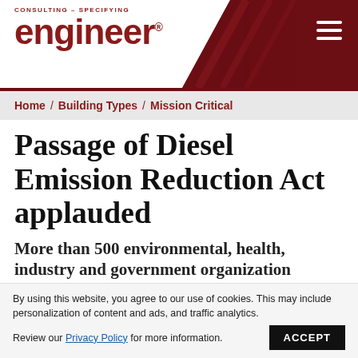CONSULTING - SPECIFYING engineer®
Home / Building Types / Mission Critical
Passage of Diesel Emission Reduction Act applauded
More than 500 environmental, health, industry and government organization
By using this website, you agree to our use of cookies. This may include personalization of content and ads, and traffic analytics. Review our Privacy Policy for more information. ACCEPT